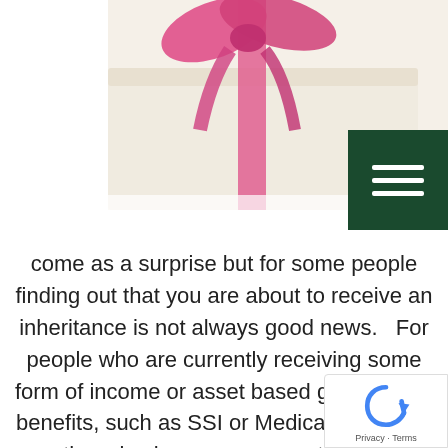[Figure (photo): Partial view of a gift box with pink ribbon bow on a light background]
come as a surprise but for some people finding out that you are about to receive an inheritance is not always good news.   For people who are currently receiving some form of income or asset based government benefits, such as SSI or Medicaid benefits, there is always a concern that an inheritance may jeopardize their eligibility for those benefits.  For others, the thought of receiving certain types of assets, such as a family owned business, may seem overwhelming.